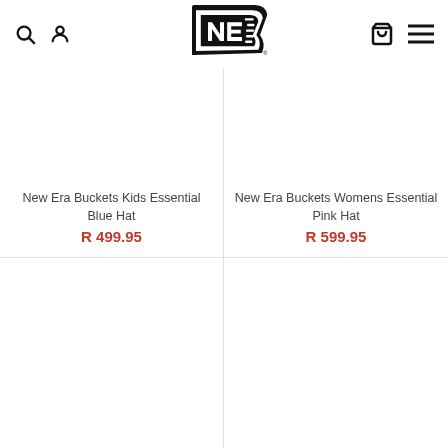New Era Cap — Navigation header with search, user, cart, menu icons and New Era logo
[Figure (logo): New Era Cap logo — black flag/banner shape with stylized NE letters]
New Era Buckets Kids Essential Blue Hat
R 499.95
New Era Buckets Womens Essential Pink Hat
R 599.95
[Figure (photo): Product image area — empty/white, bottom-left grid cell]
[Figure (photo): Product image area — empty/white, bottom-right grid cell]